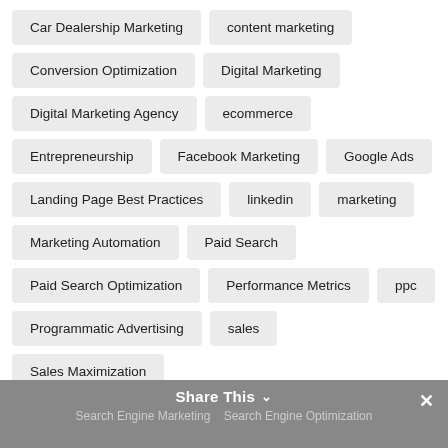Car Dealership Marketing
content marketing
Conversion Optimization
Digital Marketing
Digital Marketing Agency
ecommerce
Entrepreneurship
Facebook Marketing
Google Ads
Landing Page Best Practices
linkedin
marketing
Marketing Automation
Paid Search
Paid Search Optimization
Performance Metrics
ppc
Programmatic Advertising
sales
Sales Maximization
Share This  Search Engine Marketing  Search Engine Optimization